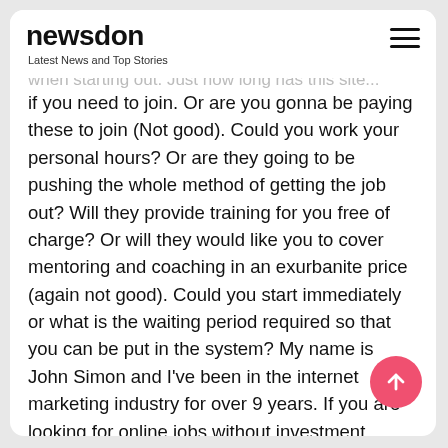newsdon — Latest News and Top Stories
if you need to join. Or are you gonna be paying these to join (Not good). Could you work your personal hours? Or are they going to be pushing the whole method of getting the job out? Will they provide training for you free of charge? Or will they would like you to cover mentoring and coaching in an exurbanite price (again not good). Could you start immediately or what is the waiting period required so that you can be put in the system? My name is John Simon and I've been in the internet marketing industry for over 9 years. If you are looking for online jobs without investment. simply I would recommend you to check my website for further details.